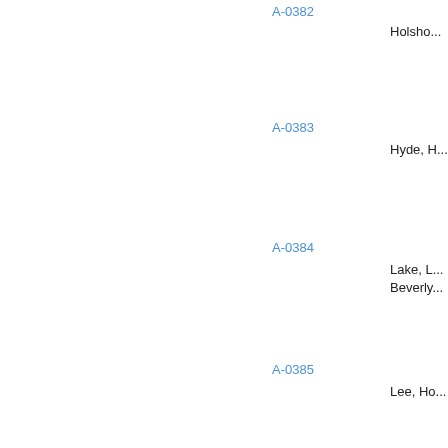A-0382
Holsho...
A-0383
Hyde, H...
A-0384
Lake, L... Beverly...
A-0385
Lee, Ho...
A-0386
Love, R...